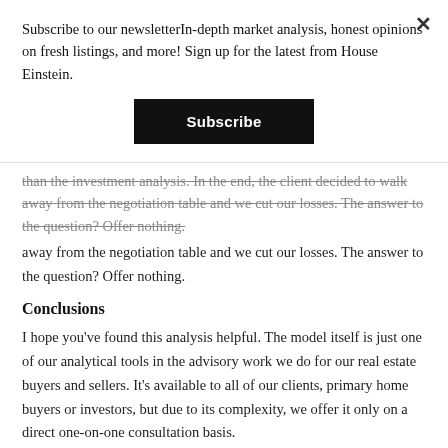Subscribe to our newsletterIn-depth market analysis, honest opinions on fresh listings, and more! Sign up for the latest from House Einstein.
Subscribe
than the investment analysis. In the end, the client decided to walk away from the negotiation table and we cut our losses. The answer to the question? Offer nothing.
Conclusions
I hope you've found this analysis helpful. The model itself is just one of our analytical tools in the advisory work we do for our real estate buyers and sellers. It's available to all of our clients, primary home buyers or investors, but due to its complexity, we offer it only on a direct one-on-one consultation basis.